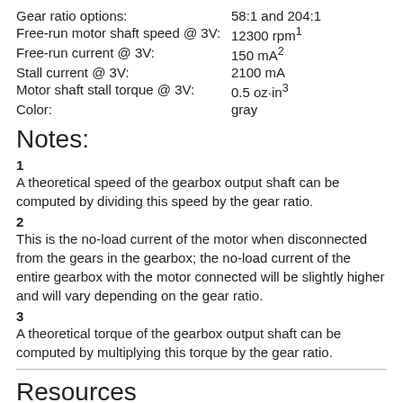| Gear ratio options: | 58:1 and 204:1 |
| Free-run motor shaft speed @ 3V: | 12300 rpm¹ |
| Free-run current @ 3V: | 150 mA² |
| Stall current @ 3V: | 2100 mA |
| Motor shaft stall torque @ 3V: | 0.5 oz·in³ |
| Color: | gray |
Notes:
1
A theoretical speed of the gearbox output shaft can be computed by dividing this speed by the gear ratio.
2
This is the no-load current of the motor when disconnected from the gears in the gearbox; the no-load current of the entire gearbox with the motor connected will be slightly higher and will vary depending on the gear ratio.
3
A theoretical torque of the gearbox output shaft can be computed by multiplying this torque by the gear ratio.
Resources